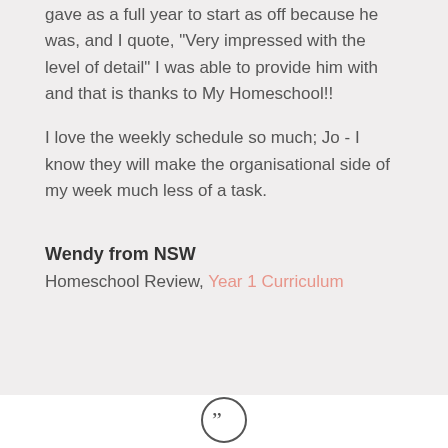gave us a full year to start as off because he was, and I quote, "Very impressed with the level of detail" I was able to provide him with and that is thanks to My Homeschool!!

I love the weekly schedule so much; Jo - I know they will make the organisational side of my week much less of a task.
Wendy from NSW
Homeschool Review, Year 1 Curriculum
[Figure (illustration): Closing double quotation mark icon, dark circle outline with two quotation marks inside]